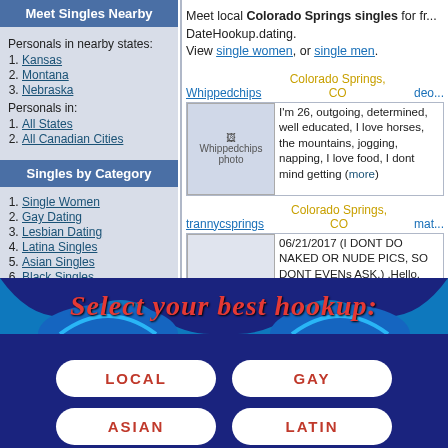Meet Singles Nearby
Personals in nearby states:
1. Kansas
2. Montana
3. Nebraska
Personals in:
1. All States
2. All Canadian Cities
Singles by Category
1. Single Women
2. Gay Dating
3. Lesbian Dating
4. Latina Singles
5. Asian Singles
6. Black Singles
7. Single Men
8. Senior Singles
Meet local Colorado Springs singles for free at DateHookup.dating.
View single women, or single men.
Whippedchips — Colorado Springs, CO
I'm 26, outgoing, determined, well educated, I love horses, the mountains, jogging, napping, I love food, I dont mind getting (more)
trannycsprings — Colorado Springs, CO
06/21/2017 (I DONT DO NAKED OR NUDE PICS, SO DONT EVENs ASK.) .Hello. name is lea. thanks for viewing my profile. Well im o (more)...
[Figure (screenshot): Bottom banner with dark blue background, wave graphic, red italic text 'Select your best hookup:', and four white pill-shaped buttons labeled LOCAL, GAY, ASIAN, LATIN in red bold text.]